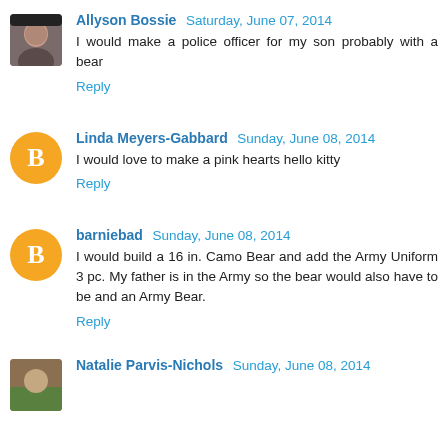Allyson Bossie Saturday, June 07, 2014
I would make a police officer for my son probably with a bear
Reply
Linda Meyers-Gabbard Sunday, June 08, 2014
I would love to make a pink hearts hello kitty
Reply
barniebad Sunday, June 08, 2014
I would build a 16 in. Camo Bear and add the Army Uniform 3 pc. My father is in the Army so the bear would also have to be and an Army Bear.
Reply
Natalie Parvis-Nichols Sunday, June 08, 2014